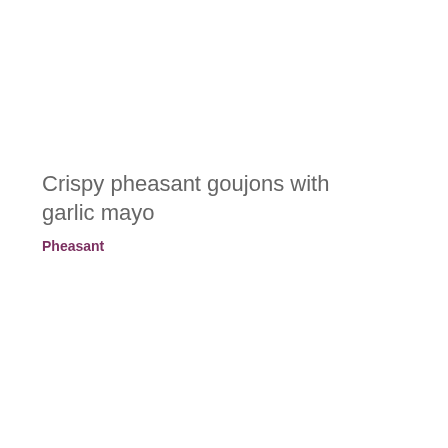Crispy pheasant goujons with garlic mayo
Pheasant